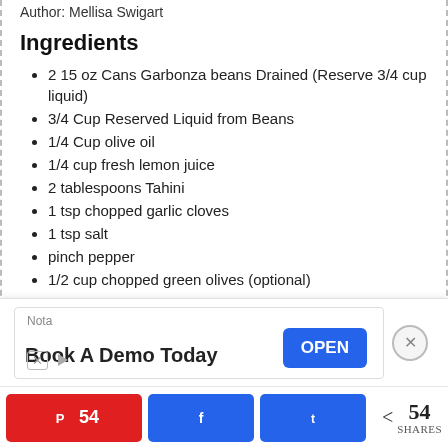Author: Mellisa Swigart
Ingredients
2 15 oz Cans Garbonza beans Drained (Reserve 3/4 cup liquid)
3/4 Cup Reserved Liquid from Beans
1/4 Cup olive oil
1/4 cup fresh lemon juice
2 tablespoons Tahini
1 tsp chopped garlic cloves
1 tsp salt
pinch pepper
1/2 cup chopped green olives (optional)
Instructions
In a food processor remove the lid and pour in the garbonza beans, bean liquid, lemon juice, olive oil, tahini, salt, pepper and garlic. Hit the food processor button and let the blender do all the work. It takes about 90 seconds to completely combine everything.
[Figure (other): Advertisement banner: Nota - Book A Demo Today - OPEN button]
[Figure (other): Social sharing bar with Pinterest (54), Facebook, Twitter buttons and share count 54 SHARES]